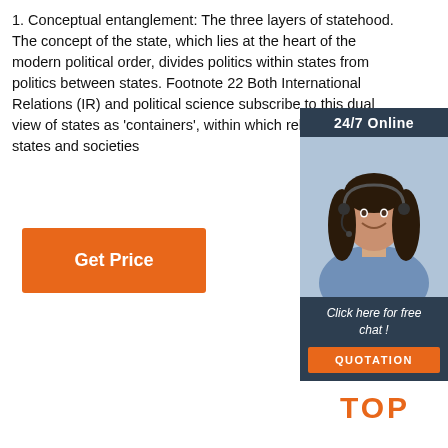1. Conceptual entanglement: The three layers of statehood. The concept of the state, which lies at the heart of the modern political order, divides politics within states from politics between states. Footnote 22 Both International Relations (IR) and political science subscribe to this dual view of states as 'containers', within which relations between states and societies
[Figure (illustration): Advertisement box with dark navy background showing '24/7 Online' header, photo of a woman with headset (customer support), 'Click here for free chat!' text, and an orange QUOTATION button.]
[Figure (illustration): Orange 'Get Price' button]
[Figure (logo): Orange 'TOP' logo with dotted arc above the text]